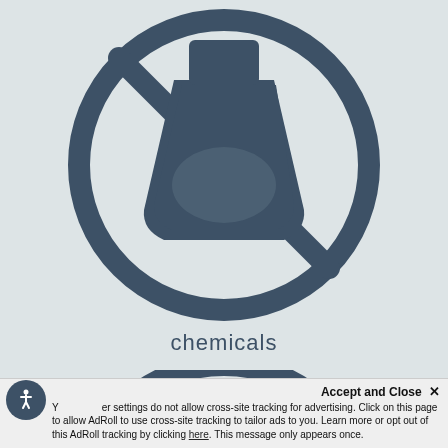[Figure (illustration): Top half of a circular icon with a prohibition/no symbol (circle with diagonal line) containing a laboratory flask/beaker silhouette, dark slate color on light gray background. The bottom half of the circle is cut off by the image edge.]
chemicals
[Figure (illustration): Bottom portion of a circular icon with a star/compass-like symbol inside a circle with diagonal line segments, dark slate color on light gray background. The top portion is cut off.]
Accept and Close ×
Your browser settings do not allow cross-site tracking for advertising. Click on this page to allow AdRoll to use cross-site tracking to tailor ads to you. Learn more or opt out of this AdRoll tracking by clicking here. This message only appears once.